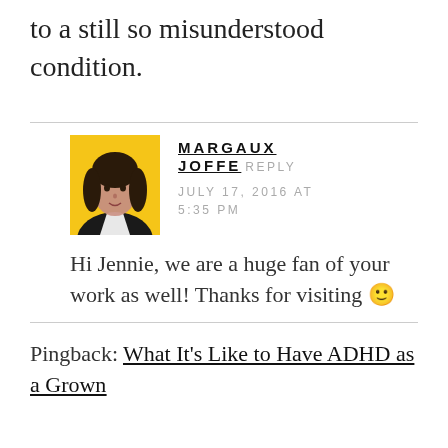to a still so misunderstood condition.
MARGAUX JOFFE
JULY 17, 2016 AT 5:35 PM
[Figure (photo): Profile photo of Margaux Joffe, a woman with dark hair wearing a black jacket against a yellow background]
Hi Jennie, we are a huge fan of your work as well! Thanks for visiting 🙂
Pingback: What It's Like to Have ADHD as a Grown